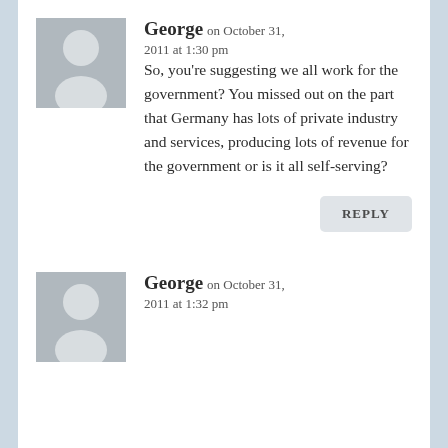[Figure (illustration): Grey placeholder avatar with white silhouette of a person (head and shoulders), first comment]
George on October 31, 2011 at 1:30 pm
So, you're suggesting we all work for the government? You missed out on the part that Germany has lots of private industry and services, producing lots of revenue for the government or is it all self-serving?
REPLY
[Figure (illustration): Grey placeholder avatar with white silhouette of a person (head and shoulders), second comment]
George on October 31, 2011 at 1:32 pm